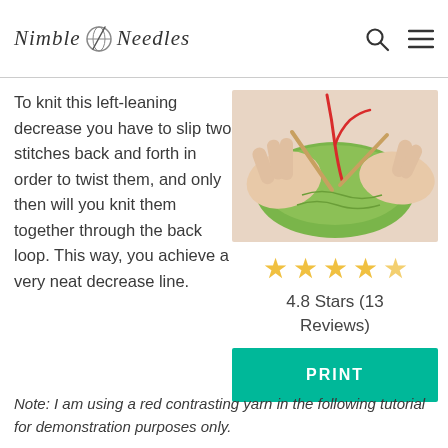Nimble Needles
To knit this left-leaning decrease you have to slip two stitches back and forth in order to twist them, and only then will you knit them together through the back loop. This way, you achieve a very neat decrease line.
[Figure (photo): Hands knitting with green yarn and a red contrasting yarn, close-up of knitting needles and stitches]
4.8 Stars (13 Reviews)
PRINT
Note: I am using a red contrasting yarn in the following tutorial for demonstration purposes only.